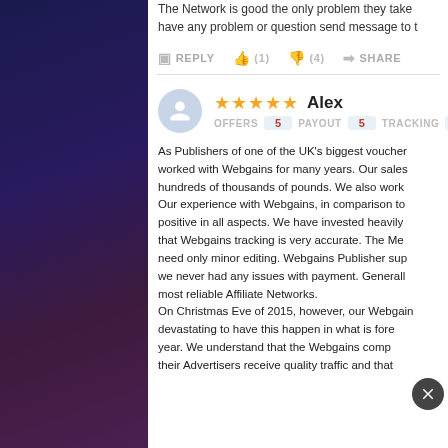The Network is good the only problem they take... have any problem or question send message to t...
REPLY  (1)  (4)  SHARE
★★★★★  Alex
OFFERS 5  PAYOUT 5  TRACKING 5  SUP...
As Publishers of one of the UK's biggest voucher... worked with Webgains for many years. Our sales... hundreds of thousands of pounds. We also work... Our experience with Webgains, in comparison to... positive in all aspects. We have invested heavily... that Webgains tracking is very accurate. The Me... need only minor editing. Webgains Publisher sup... we never had any issues with payment. Generally... most reliable Affiliate Networks.
On Christmas Eve of 2015, however, our Webgain... devastating to have this happen in what is fore... year. We understand that the Webgains comp... their Advertisers receive quality traffic and that...